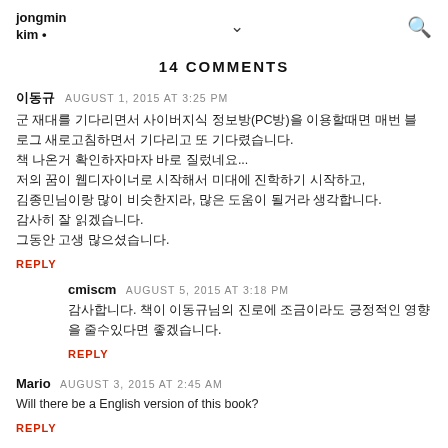jongmin kim •
14 COMMENTS
이동규 AUGUST 1, 2015 AT 3:25 PM
군 재대를 기다리면서 사이버지식 정보방(PC방)을 이용할때면 매번 블로그 새로고침하면서 기다리고 또 기다렸습니다.
책 나온거 확인하자마자 바로 질렀네요...
저의 꿈이 웹디자이너로 시작해서 미대에 진학하기 시작하고,
김종민님이랑 많이 비슷한지라, 많은 도움이 될거라 생각합니다.
감사히 잘 읽겠습니다.
그동안 고생 많으셨습니다.
REPLY
cmiscm AUGUST 5, 2015 AT 3:18 PM
감사합니다. 책이 이동규님의 진로에 조금이라도 긍정적인 영향을 줄수있다면 좋겠습니다.
REPLY
Mario AUGUST 3, 2015 AT 2:45 AM
Will there be a English version of this book?
REPLY
cmiscm AUGUST 5, 2015 AT 3:18 PM